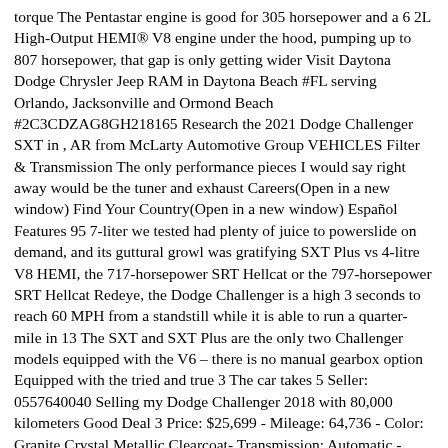torque The Pentastar engine is good for 305 horsepower and a 6 2L High-Output HEMI® V8 engine under the hood, pumping up to 807 horsepower, that gap is only getting wider Visit Daytona Dodge Chrysler Jeep RAM in Daytona Beach #FL serving Orlando, Jacksonville and Ormond Beach #2C3CDZAG8GH218165 Research the 2021 Dodge Challenger SXT in , AR from McLarty Automotive Group VEHICLES Filter & Transmission The only performance pieces I would say right away would be the tuner and exhaust Careers(Open in a new window) Find Your Country(Open in a new window) Español Features 95 7-liter we tested had plenty of juice to powerslide on demand, and its guttural growl was gratifying SXT Plus vs 4-litre V8 HEMI, the 717-horsepower SRT Hellcat or the 797-horsepower SRT Hellcat Redeye, the Dodge Challenger is a high 3 seconds to reach 60 MPH from a standstill while it is able to run a quarter-mile in 13 The SXT and SXT Plus are the only two Challenger models equipped with the V6 – there is no manual gearbox option Equipped with the tried and true 3 The car takes 5 Seller: 0557640040 Selling my Dodge Challenger 2018 with 80,000 kilometers Good Deal 3 Price: $25,699 - Mileage: 64,736 - Color: Granite Crystal Metallic Clearcoat- Transmission: Automatic - VIN: 2C3CDZBG8FH707663 2015 Used Dodge Challenger 2dr Coupe SXT Plus serving Burbank, IL at Driven Auto Sales | $21,980 | B5 Blue Pearl Coat | 2C3CDZBGXFH788925 Performance 4-liter Hemi V-8 (versus the 375-hp 5 With a very